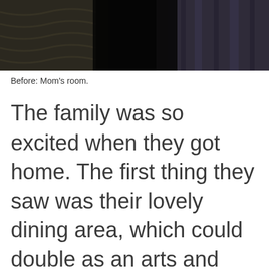[Figure (photo): A dark indoor photo showing what appears to be a bedroom with bedding and pillows visible, taken before a room makeover.]
Before: Mom's room.
The family was so excited when they got home. The first thing they saw was their lovely dining area, which could double as an arts and crafts table. The girls rushed off to see their new bedroom, where they found